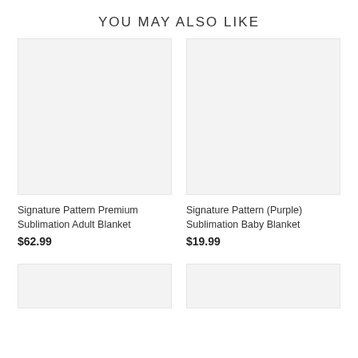YOU MAY ALSO LIKE
[Figure (photo): Empty light gray product image placeholder for Signature Pattern Premium Sublimation Adult Blanket]
[Figure (photo): Empty light gray product image placeholder for Signature Pattern (Purple) Sublimation Baby Blanket]
Signature Pattern Premium Sublimation Adult Blanket
$62.99
Signature Pattern (Purple) Sublimation Baby Blanket
$19.99
[Figure (photo): Empty light gray product image placeholder (bottom left)]
[Figure (photo): Empty light gray product image placeholder (bottom right)]